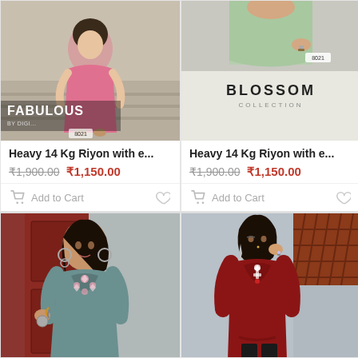[Figure (photo): FABULOUS collection catalog cover image showing a woman in pink dress on steps]
Heavy 14 Kg Riyon with e...
₹1,900.00  ₹1,150.00
Add to Cart
[Figure (photo): BLOSSOM collection catalog cover image showing a woman in light green top]
Heavy 14 Kg Riyon with e...
₹1,900.00  ₹1,150.00
Add to Cart
[Figure (photo): Woman wearing teal/grey embroidered kurti with pink floral neckline embroidery, silver earrings]
[Figure (photo): Woman wearing deep red/maroon long kurti with white embroidery at neckline, black pants]